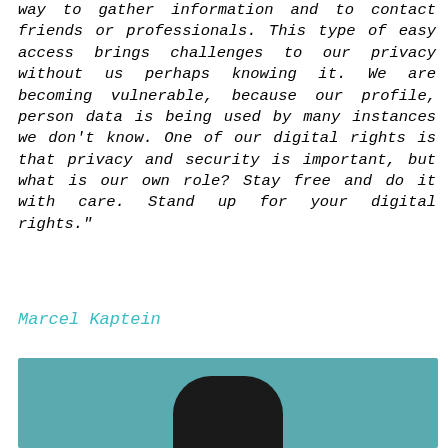way to gather information and to contact friends or professionals. This type of easy access brings challenges to our privacy without us perhaps knowing it. We are becoming vulnerable, because our profile, person data is being used by many instances we don't know. One of our digital rights is that privacy and security is important, but what is our own role? Stay free and do it with care. Stand up for your digital rights."
Marcel Kaptein
[Figure (photo): Photo of Marcel Kaptein shown from shoulders up as a silhouette against a teal/blue-green background]